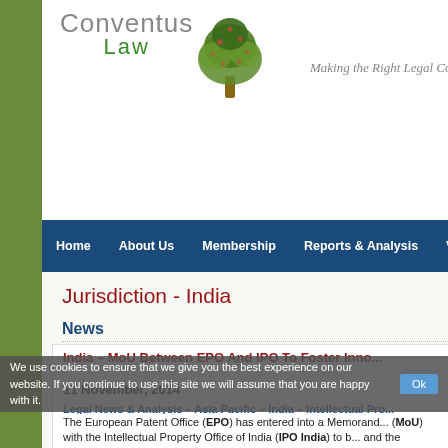[Figure (logo): Conventus Law logo with tree graphic and tagline 'Making the Right Legal Con...']
Home | About Us | Membership | Reports & Analysis | Vide...
Jurisdiction - India
News
India – MoU Between EPO And IPO To Foster Inno...
11 November, 2014
Legal News & Analysis – Asia Pacific – India – Intellectual Pro...
The European Patent Office (EPO) has entered into a Memorand... (MoU) with the Intellectual Property Office of India (IPO India) to b... and the European Union...
The MoU aims at bilateral co-operation between the EPO & IPO a... framework for structured work relations between both the offices...
We use cookies to ensure that we give you the best experience on our website. If you continue to use this site we will assume that you are happy with it.